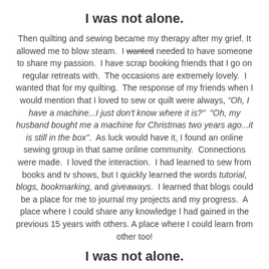I was not alone.
Then quilting and sewing became my therapy after my grief. It allowed me to blow steam. I wanted needed to have someone to share my passion. I have scrap booking friends that I go on regular retreats with. The occasions are extremely lovely. I wanted that for my quilting. The response of my friends when I would mention that I loved to sew or quilt were always, "Oh, I have a machine...I just don't know where it is?" "Oh, my husband bought me a machine for Christmas two years ago...it is still in the box". As luck would have it, I found an online sewing group in that same online community. Connections were made. I loved the interaction. I had learned to sew from books and tv shows, but I quickly learned the words tutorial, blogs, bookmarking, and giveaways. I learned that blogs could be a place for me to journal my projects and my progress. A place where I could share any knowledge I had gained in the previous 15 years with others. A place where I could learn from other too!
I was not alone.